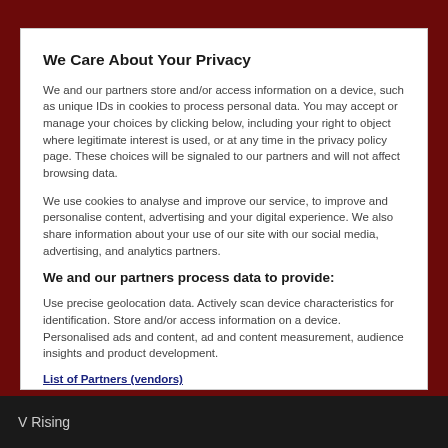We Care About Your Privacy
We and our partners store and/or access information on a device, such as unique IDs in cookies to process personal data. You may accept or manage your choices by clicking below, including your right to object where legitimate interest is used, or at any time in the privacy policy page. These choices will be signaled to our partners and will not affect browsing data.
We use cookies to analyse and improve our service, to improve and personalise content, advertising and your digital experience. We also share information about your use of our site with our social media, advertising, and analytics partners.
We and our partners process data to provide:
Use precise geolocation data. Actively scan device characteristics for identification. Store and/or access information on a device. Personalised ads and content, ad and content measurement, audience insights and product development.
List of Partners (vendors)
V Rising